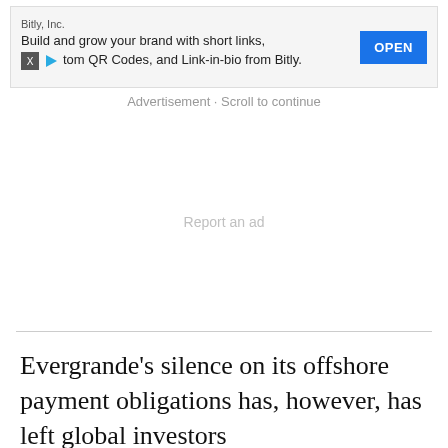[Figure (other): Advertisement banner for Bitly, Inc. showing company name, promotional text about building brand with short links, custom QR Codes, and Link-in-bio, with an OPEN button in blue.]
Advertisement · Scroll to continue
Report an ad
Evergrande's silence on its offshore payment obligations has, however, has left global investors